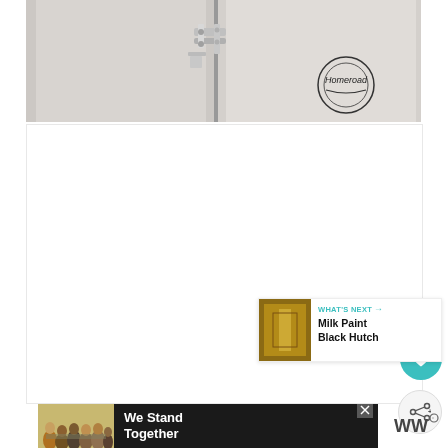[Figure (photo): Close-up photo of painted gray cabinet doors with metal hinges, showing floor beneath. Homeroad logo stamp visible in bottom right of image.]
[Figure (other): White/blank content area with teal heart favorite button and gray share button on right side]
[Figure (other): What's Next panel showing thumbnail of golden lit hutch with text 'WHAT'S NEXT → Milk Paint Black Hutch']
[Figure (other): Advertisement banner showing group of people hugging from behind with text 'We Stand Together' on dark background, with WW logo on right and close X button]